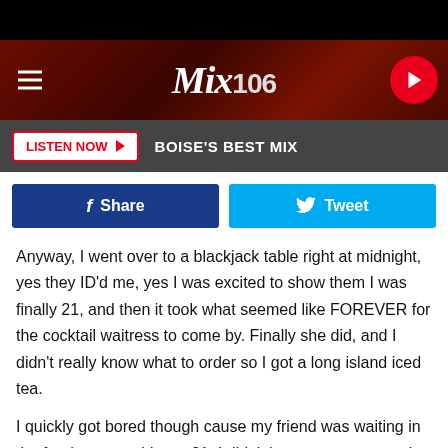[Figure (screenshot): Mix 106 radio station website header banner with logo and play button]
[Figure (screenshot): Listen Now button bar with text BOISE'S BEST MIX on dark grey background]
[Figure (screenshot): Facebook Share and Twitter Tweet social sharing buttons]
Anyway, I went over to a blackjack table right at midnight, yes they ID'd me, yes I was excited to show them I was finally 21, and then it took what seemed like FOREVER for the cocktail waitress to come by. Finally she did, and I didn't really know what to order so I got a long island iced tea.
I quickly got bored though cause my friend was waiting in the food court and I was 21, I didn't have any money to be gambling so I think I was home by 1 am.